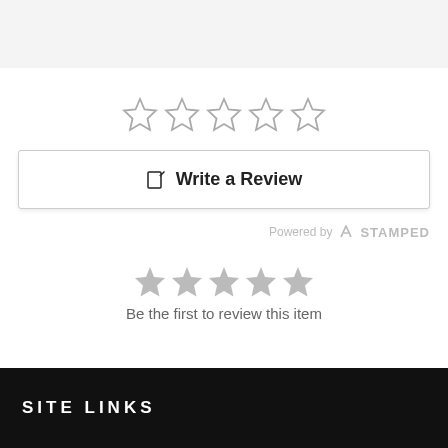[Figure (other): Five empty star rating icons in a row (outline only, no fill), gray strokes on white background]
✏ Write a Review
Powered by ⚡ STAMPED
[Figure (other): Five filled gray star icons in a row, indicating placeholder rating]
Be the first to review this item
SITE LINKS